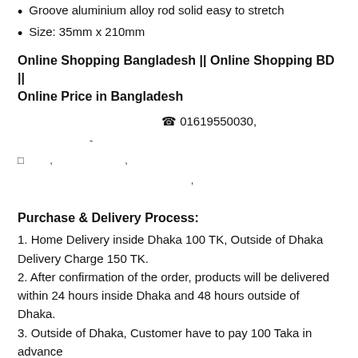Groove aluminium alloy rod solid easy to stretch
Size: 35mm x 210mm
Online Shopping Bangladesh || Online Shopping BD || Online Price in Bangladesh
☎ 01619550030,
-
□         ,                          ,
,
Purchase & Delivery Process:
1. Home Delivery inside Dhaka 100 TK, Outside of Dhaka Delivery Charge 150 TK.
2. After confirmation of the order, products will be delivered within 24 hours inside Dhaka and 48 hours outside of Dhaka.
3. Outside of Dhaka, Customer have to pay 100 Taka in advance